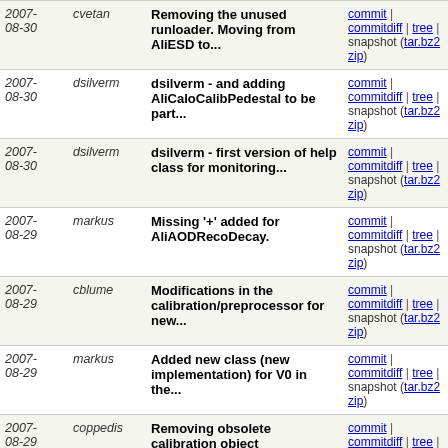| Date | Author | Message | Links |
| --- | --- | --- | --- |
| 2007-08-30 | cvetan | Removing the unused runloader. Moving from AliESD to... | commit | commitdiff | tree | snapshot (tar.bz2 zip) |
| 2007-08-30 | dsilverm | dsilverm - and adding AliCaloCalibPedestal to be part... | commit | commitdiff | tree | snapshot (tar.bz2 zip) |
| 2007-08-30 | dsilverm | dsilverm - first version of help class for monitoring... | commit | commitdiff | tree | snapshot (tar.bz2 zip) |
| 2007-08-29 | markus | Missing '+' added for AliAODRecoDecay. | commit | commitdiff | tree | snapshot (tar.bz2 zip) |
| 2007-08-29 | cblume | Modifications in the calibration/preprocessor for new... | commit | commitdiff | tree | snapshot (tar.bz2 zip) |
| 2007-08-29 | markus | Added new class (new implementation) for V0 in the... | commit | commitdiff | tree | snapshot (tar.bz2 zip) |
| 2007-08-29 | coppedis | Removing obsolete calibration object | commit | commitdiff | tree | snapshot (tar.bz2 zip) |
| 2007-08-29 | morsch | Correction for saving parent id. | commit | commitdiff | tree | snapshot (tar.bz2 zip) |
| 2007-08-28 | coppedis | Minor changes | commit | commitdiff | tree | snapshot (tar.bz2 zip) |
| 2007-08-28 | coppedis | Enabling single-event reconstruction for ZDC (Cvetan) | commit | commitdiff | tree | snapshot (tar.bz2 zip) |